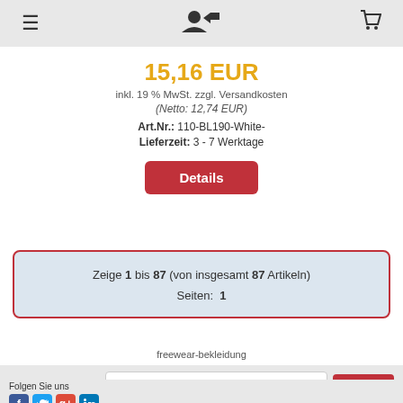≡  👤↓  🛒
15,16 EUR
inkl. 19 % MwSt. zzgl. Versandkosten
(Netto: 12,74 EUR)
Art.Nr.: 110-BL190-White-
Lieferzeit: 3 - 7 Werktage
Details
Zeige 1 bis 87 (von insgesamt 87 Artikeln)
Seiten: 1
freewear-bekleidung
Newsletter-Anmeldung  E-Mail-Adresse  Anmelden
Folgen Sie uns